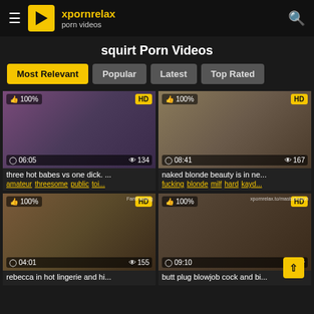xpornrelax porn videos
squirt Porn Videos
Most Relevant | Popular | Latest | Top Rated
[Figure (screenshot): Video thumbnail 1: blonde woman, 100% rating, HD badge, duration 06:05, views 134]
three hot babes vs one dick. ...
amateur threesome public toi...
[Figure (screenshot): Video thumbnail 2: blonde woman seated, 100% rating, HD badge, duration 08:41, views 167]
naked blonde beauty is in ne...
fucking blonde milf hard kayd...
[Figure (screenshot): Video thumbnail 3: blonde woman, 100% rating, HD badge, duration 04:01, views 155, FantFanting watermark]
rebecca in hot lingerie and hi...
[Figure (screenshot): Video thumbnail 4: close-up, 100% rating, HD badge, duration 09:10, views partially hidden]
butt plug blowjob cock and bi...